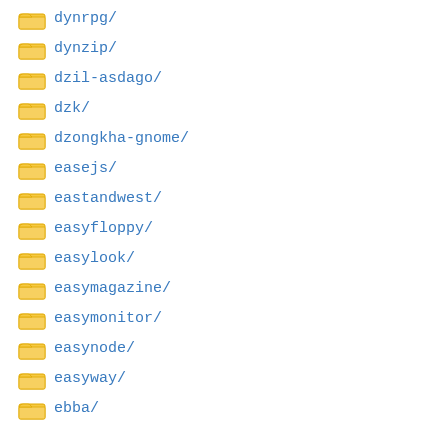dynrpg/
dynzip/
dzil-asdago/
dzk/
dzongkha-gnome/
easejs/
eastandwest/
easyfloppy/
easylook/
easymagazine/
easymonitor/
easynode/
easyway/
ebba/